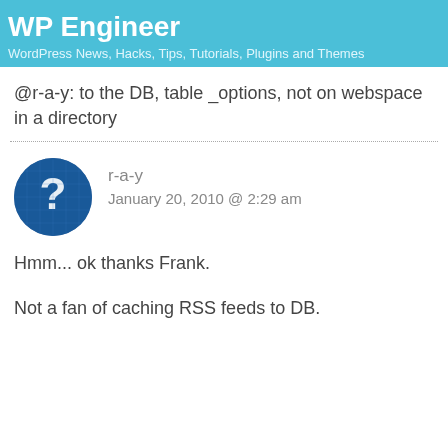WP Engineer
WordPress News, Hacks, Tips, Tutorials, Plugins and Themes
@r-a-y: to the DB, table _options, not on webspace in a directory
r-a-y
January 20, 2010 @ 2:29 am
Hmm... ok thanks Frank.

Not a fan of caching RSS feeds to DB.